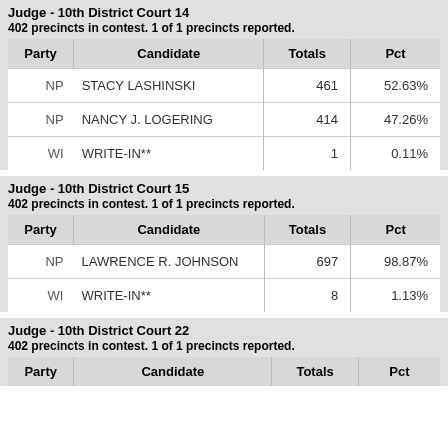Judge - 10th District Court 14
402 precincts in contest. 1 of 1 precincts reported.
| Party | Candidate | Totals | Pct |
| --- | --- | --- | --- |
| NP | STACY LASHINSKI | 461 | 52.63% |
| NP | NANCY J. LOGERING | 414 | 47.26% |
| WI | WRITE-IN** | 1 | 0.11% |
Judge - 10th District Court 15
402 precincts in contest. 1 of 1 precincts reported.
| Party | Candidate | Totals | Pct |
| --- | --- | --- | --- |
| NP | LAWRENCE R. JOHNSON | 697 | 98.87% |
| WI | WRITE-IN** | 8 | 1.13% |
Judge - 10th District Court 22
402 precincts in contest. 1 of 1 precincts reported.
| Party | Candidate | Totals | Pct |
| --- | --- | --- | --- |